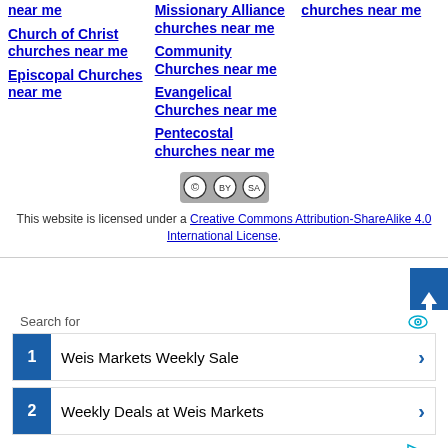near me
Missionary Alliance churches near me
churches near me
Church of Christ churches near me
Community Churches near me
Episcopal Churches near me
Evangelical Churches near me
Pentecostal churches near me
[Figure (logo): Creative Commons BY-SA license badge]
This website is licensed under a Creative Commons Attribution-ShareAlike 4.0 International License.
[Figure (screenshot): Advertisement: Search for - 1. Weis Markets Weekly Sale, 2. Weekly Deals at Weis Markets]